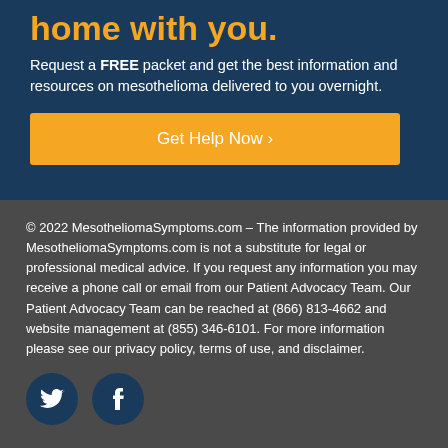home with you.
Request a FREE packet and get the best information and resources on mesothelioma delivered to you overnight.
Get Help Now ›
© 2022 MesotheliomaSymptoms.com – The information provided by MesotheliomaSymptoms.com is not a substitute for legal or professional medical advice. If you request any information you may receive a phone call or email from our Patient Advocacy Team. Our Patient Advocacy Team can be reached at (866) 813-4662 and website management at (855) 346-6101. For more information please see our privacy policy, terms of use, and disclaimer.
[Figure (illustration): Twitter and Facebook social media icons in dark navy circles]